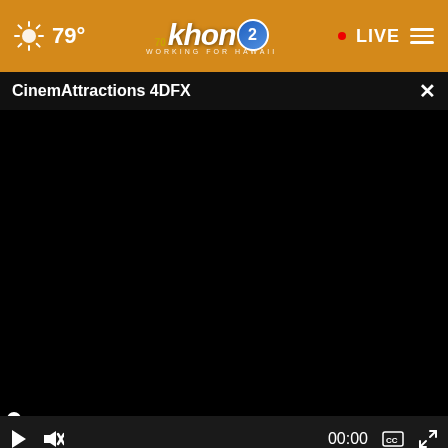khon2 WORKING FOR HAWAII – 79° LIVE
CinemAttractions 4DFX
[Figure (screenshot): Black video player area showing no content loaded]
00:00
Sursell
[Figure (infographic): Advertisement banner: circular logo, 'Before' aerial photo, 'No job is too small' text with orange arrow button]